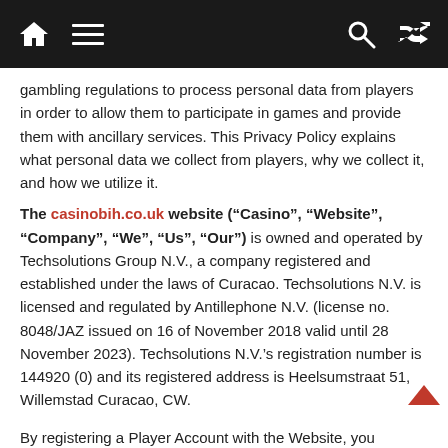[Navigation bar with home, menu, search, and shuffle icons]
gambling regulations to process personal data from players in order to allow them to participate in games and provide them with ancillary services. This Privacy Policy explains what personal data we collect from players, why we collect it, and how we utilize it.
The casinobih.co.uk website (“Casino”, “Website”, “Company”, “We”, “Us”, “Our”) is owned and operated by Techsolutions Group N.V., a company registered and established under the laws of Curacao. Techsolutions N.V. is licensed and regulated by Antillephone N.V. (license no. 8048/JAZ issued on 16 of November 2018 valid until 28 November 2023). Techsolutions N.V.’s registration number is 144920 (0) and its registered address is Heelsumstraat 51, Willemstad Curacao, CW.
By registering a Player Account with the Website, you